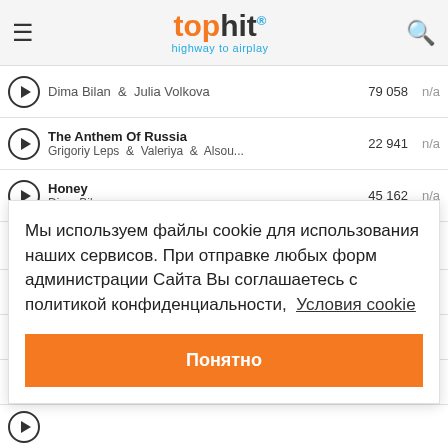tophit® highway to airplay
Dima Bilan & Julia Volkova — 79 058 — n/a
The Anthem Of Russia — Grigoriy Leps & Valeriya & Alsou... — 22 941 — n/a
Honey — Dima Bilan — 45 162 — n/a
It Doesn't Work That Way
Мы используем файлы cookie для использования наших сервисов. При отправке любых форм администрации Сайта Вы соглашаетесь с политикой конфиденциальности,  Условия cookie
Понятно
(play button row)
(play button row)
(play button row)
(play button row)
No Wanted